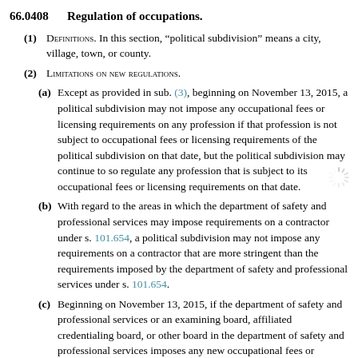66.0408    Regulation of occupations.
(1) Definitions. In this section, “political subdivision” means a city, village, town, or county.
(2) Limitations on new regulations.
(a) Except as provided in sub. (3), beginning on November 13, 2015, a political subdivision may not impose any occupational fees or licensing requirements on any profession if that profession is not subject to occupational fees or licensing requirements of the political subdivision on that date, but the political subdivision may continue to so regulate any profession that is subject to its occupational fees or licensing requirements on that date.
(b) With regard to the areas in which the department of safety and professional services may impose requirements on a contractor under s. 101.654, a political subdivision may not impose any requirements on a contractor that are more stringent than the requirements imposed by the department of safety and professional services under s. 101.654.
(c) Beginning on November 13, 2015, if the department of safety and professional services or an examining board, affiliated credentialing board, or other board in the department of safety and professional services imposes any new occupational fees or licensing requirements on any profession that was previously unregulated by the state, and